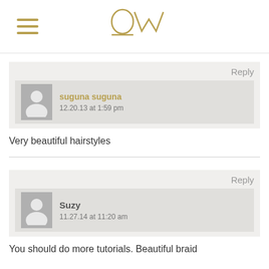[Figure (logo): OW logo in gold/tan with hamburger menu icon on the left]
suguna suguna
12.20.13 at 1:59 pm
Very beautiful hairstyles
Suzy
11.27.14 at 11:20 am
You should do more tutorials. Beautiful braid